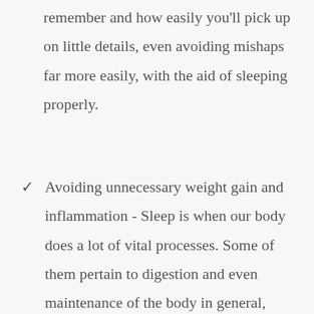remember and how easily you'll pick up on little details, even avoiding mishaps far more easily, with the aid of sleeping properly.
Avoiding unnecessary weight gain and inflammation - Sleep is when our body does a lot of vital processes. Some of them pertain to digestion and even maintenance of the body in general, preventing a lot of issues from cropping up.